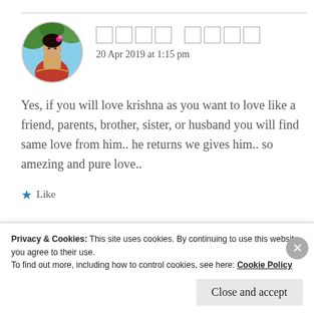[Figure (photo): Circular avatar photo of a woman in traditional Indian bridal attire with jewelry and flowers]
20 Apr 2019 at 1:15 pm
Yes, if you will love krishna as you want to love like a friend, parents, brother, sister, or husband you will find same love from him.. he returns we gives him.. so amezing and pure love..
Like
Privacy & Cookies: This site uses cookies. By continuing to use this website, you agree to their use.
To find out more, including how to control cookies, see here: Cookie Policy
Close and accept